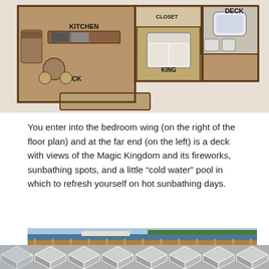[Figure (schematic): Floor plan of a villa/cabin showing KITCHEN, DECK (two locations), KING bedroom, CLOSET area, and bathroom with tub. Rooms shown in top-down architectural floor plan style with furniture.]
You enter into the bedroom wing (on the right of the floor plan) and at the far end (on the left) is a deck with views of the Magic Kingdom and its fireworks, sunbathing spots, and a little “cold water” pool in which to refresh yourself on hot sunbathing days.
[Figure (photo): Outdoor deck with lounge chairs and a round wooden table, overlooking a lake or bay with a riverboat/ferryboat in the background and trees on the far shore.]
[Figure (photo): Bottom partial image showing a geometric hexagonal/cube pattern in gray and white, possibly a tiled floor or decorative element.]